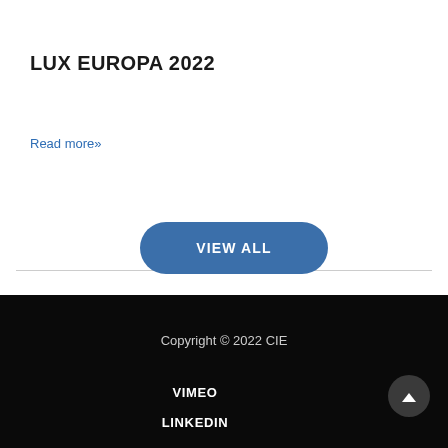LUX EUROPA 2022
Read more»
VIEW ALL
Copyright © 2022 CIE
VIMEO
LINKEDIN